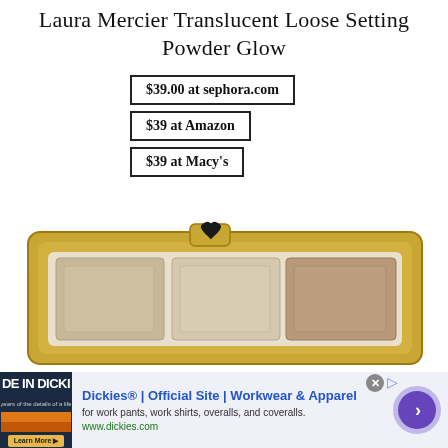Laura Mercier Translucent Loose Setting Powder Glow
$39.00 at sephora.com
$39 at Amazon
$39 at Macy's
[Figure (photo): A gold makeup palette with three shades of powder and a heart-shaped clasp, partially visible at the bottom of the page.]
[Figure (screenshot): Advertisement banner for Dickies Official Site - Workwear & Apparel, showing ad thumbnail, title, description 'for work pants, work shirts, overalls, and coveralls.', URL www.dickies.com, close button, and a purple arrow button.]